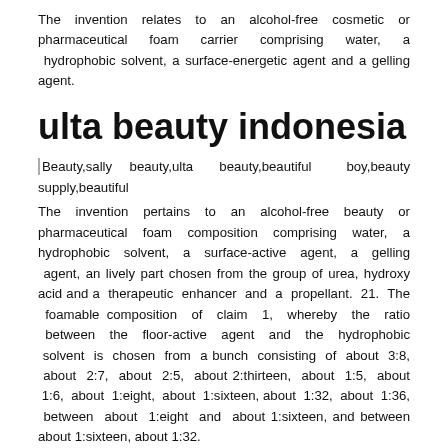The invention relates to an alcohol-free cosmetic or pharmaceutical foam carrier comprising water, a hydrophobic solvent, a surface-energetic agent and a gelling agent.
ulta beauty indonesia
[Figure (photo): Broken image placeholder with alt text: Beauty,sally beauty,ulta beauty,beautiful boy,beauty supply,beautiful]
The invention pertains to an alcohol-free beauty or pharmaceutical foam composition comprising water, a hydrophobic solvent, a surface-active agent, a gelling agent, an lively part chosen from the group of urea, hydroxy acid and a therapeutic enhancer and a propellant. 21. The foamable composition of claim 1, whereby the ratio between the floor-active agent and the hydrophobic solvent is chosen from a bunch consisting of about 3:8, about 2:7, about 2:5, about 2:thirteen, about 1:5, about 1:6, about 1:eight, about 1:sixteen, about 1:32, about 1:36, between about 1:eight and about 1:sixteen, and between about 1:sixteen, about 1:32.
One other group of keratolytically active agents embody